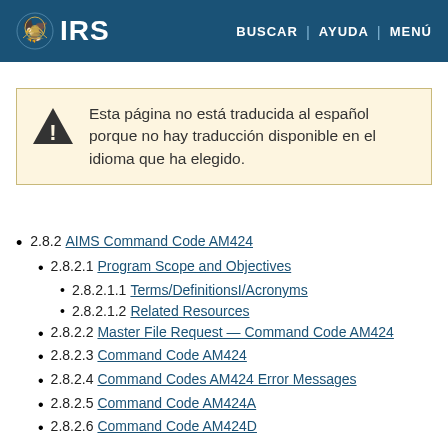IRS | BUSCAR | AYUDA | MENÚ
Esta página no está traducida al español porque no hay traducción disponible en el idioma que ha elegido.
2.8.2 AIMS Command Code AM424
2.8.2.1 Program Scope and Objectives
2.8.2.1.1 Terms/DefinitionsI/Acronyms
2.8.2.1.2 Related Resources
2.8.2.2 Master File Request — Command Code AM424
2.8.2.3 Command Code AM424
2.8.2.4 Command Codes AM424 Error Messages
2.8.2.5 Command Code AM424A
2.8.2.6 Command Code AM424D